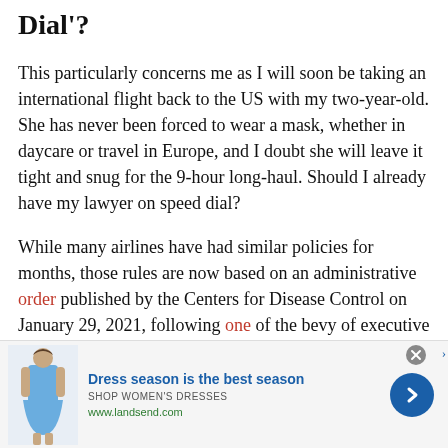Dial'?
This particularly concerns me as I will soon be taking an international flight back to the US with my two-year-old. She has never been forced to wear a mask, whether in daycare or travel in Europe, and I doubt she will leave it tight and snug for the 9-hour long-haul. Should I already have my lawyer on speed dial?
While many airlines have had similar policies for months, those rules are now based on an administrative order published by the Centers for Disease Control on January 29, 2021, following one of the bevy of executive orders signed by President Joe
[Figure (other): Advertisement banner for Lands' End showing a woman in a blue dress, headline 'Dress season is the best season', subheading 'SHOP WOMEN'S DRESSES', URL 'www.landsend.com', with a blue circular arrow button on the right and a close (X) button.]